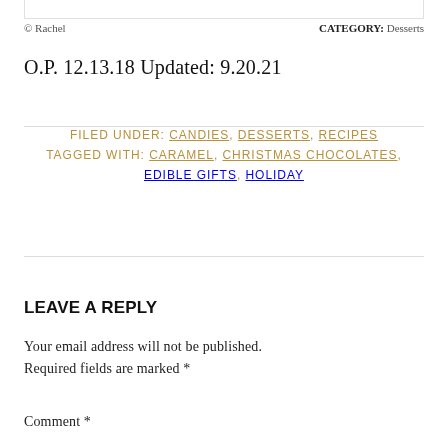© Rachel
CATEGORY: Desserts
O.P. 12.13.18 Updated: 9.20.21
FILED UNDER: CANDIES, DESSERTS, RECIPES
TAGGED WITH: CARAMEL, CHRISTMAS CHOCOLATES, EDIBLE GIFTS, HOLIDAY
LEAVE A REPLY
Your email address will not be published. Required fields are marked *
Comment *